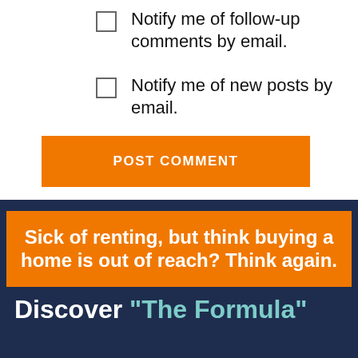Notify me of follow-up comments by email.
Notify me of new posts by email.
POST COMMENT
[Figure (infographic): Dark navy blue banner containing an orange box with white bold text: 'Sick of renting, but think buying a home is out of reach? Think again.' Below the orange box, large white and teal text reads: Discover "The Formula"]
Discover "The Formula"